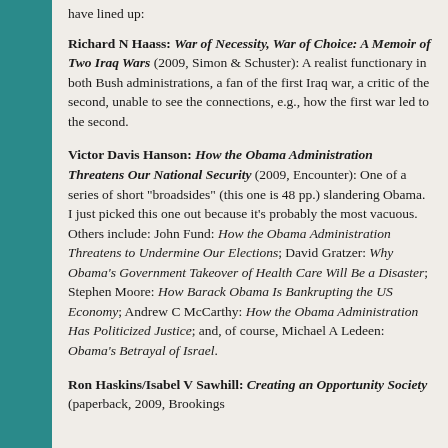have lined up:
Richard N Haass: War of Necessity, War of Choice: A Memoir of Two Iraq Wars (2009, Simon & Schuster): A realist functionary in both Bush administrations, a fan of the first Iraq war, a critic of the second, unable to see the connections, e.g., how the first war led to the second.
Victor Davis Hanson: How the Obama Administration Threatens Our National Security (2009, Encounter): One of a series of short "broadsides" (this one is 48 pp.) slandering Obama. I just picked this one out because it's probably the most vacuous. Others include: John Fund: How the Obama Administration Threatens to Undermine Our Elections; David Gratzer: Why Obama's Government Takeover of Health Care Will Be a Disaster; Stephen Moore: How Barack Obama Is Bankrupting the US Economy; Andrew C McCarthy: How the Obama Administration Has Politicized Justice; and, of course, Michael A Ledeen: Obama's Betrayal of Israel.
Ron Haskins/Isabel V Sawhill: Creating an Opportunity Society (paperback, 2009, Brookings